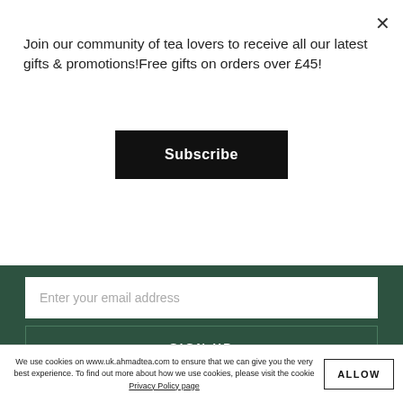Join our community of tea lovers to receive all our latest gifts & promotions!Free gifts on orders over £45!
Subscribe
Enter your email address
SIGN UP
QUICK LINKS SITEMAP
We use cookies on www.uk.ahmadtea.com to ensure that we can give you the very best experience. To find out more about how we use cookies, please visit the cookie Privacy Policy page
ALLOW